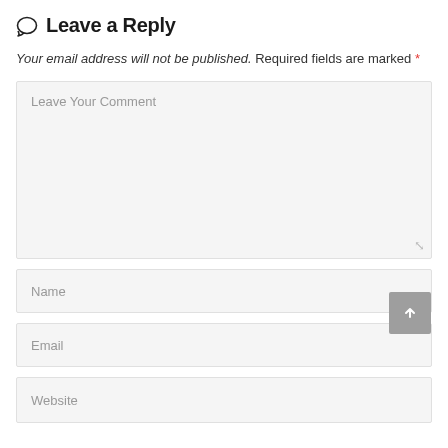Leave a Reply
Your email address will not be published. Required fields are marked *
Leave Your Comment
Name
Email
Website